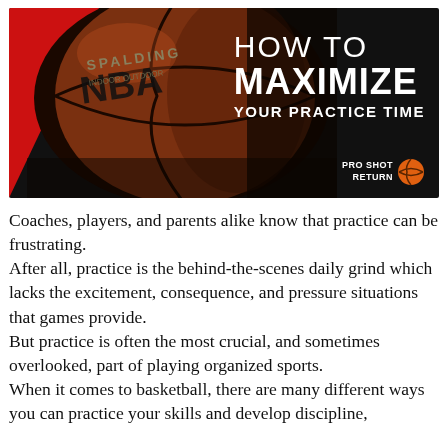[Figure (illustration): Dark banner with NBA Spalding basketball on left side with red triangle accent, and white text on right reading HOW TO MAXIMIZE YOUR PRACTICE TIME, with ProShot Return logo bottom right]
Coaches, players, and parents alike know that practice can be frustrating. After all, practice is the behind-the-scenes daily grind which lacks the excitement, consequence, and pressure situations that games provide. But practice is often the most crucial, and sometimes overlooked, part of playing organized sports. When it comes to basketball, there are many different ways you can practice your skills and develop discipline,